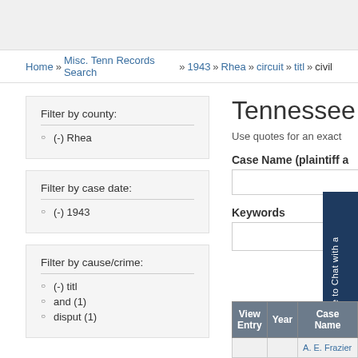Home » Misc. Tenn Records Search » 1943 » Rhea » circuit » titl » civil
Filter by county:
(-) Rhea
Filter by case date:
(-) 1943
Filter by cause/crime:
(-) titl
and (1)
disput (1)
Tennessee S
Use quotes for an exact
Case Name (plaintiff a
Keywords
| View Entry | Year | Case Name |
| --- | --- | --- |
|  |  | A. E. Frazier... |